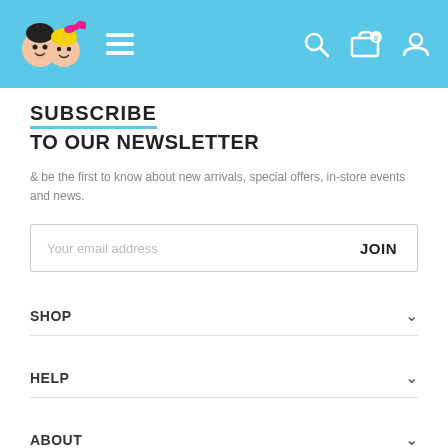[Figure (screenshot): Website header with sky blue background showing a children's store logo (cartoon boy and girl faces), hamburger menu, search icon, cart icon with 0 badge, and user account icon]
SUBSCRIBE
TO OUR NEWSLETTER
& be the first to know about new arrivals, special offers, in-store events and news.
Your email address  JOIN
SHOP
HELP
ABOUT